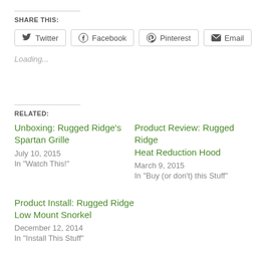SHARE THIS:
[Figure (screenshot): Social sharing buttons: Twitter, Facebook, Pinterest, Email]
Loading...
RELATED:
Unboxing: Rugged Ridge's Spartan Grille
July 10, 2015
In "Watch This!"
Product Review: Rugged Ridge Heat Reduction Hood
March 9, 2015
In "Buy (or don't) this Stuff"
Product Install: Rugged Ridge Low Mount Snorkel
December 12, 2014
In "Install This Stuff"